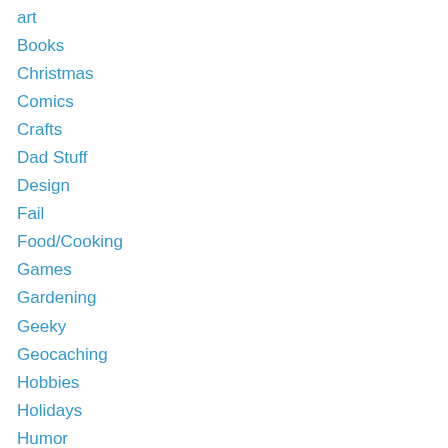art
Books
Christmas
Comics
Crafts
Dad Stuff
Design
Fail
Food/Cooking
Games
Gardening
Geeky
Geocaching
Hobbies
Holidays
Humor
Interviews
Kites
Miscellaneous
Music